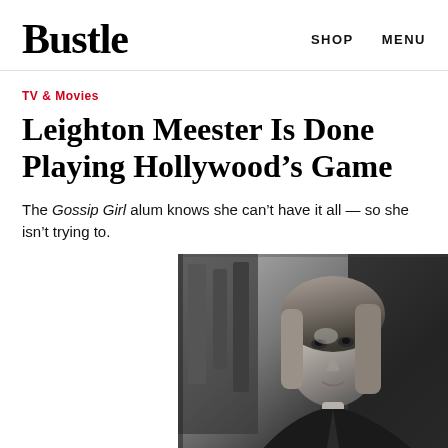Bustle   SHOP   MENU
TV & Movies
Leighton Meester Is Done Playing Hollywood’s Game
The Gossip Girl alum knows she can’t have it all — so she isn’t trying to.
[Figure (photo): Black and white photograph of Leighton Meester, a woman with shoulder-length blonde hair wearing dark clothing, looking slightly to the side. Background shows a dark interior setting.]
By Ivana Rihter